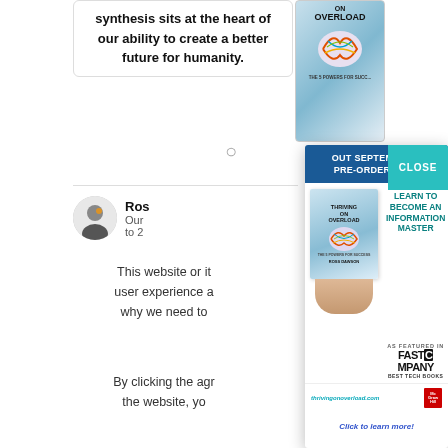synthesis sits at the heart of our ability to create a better future for humanity.
[Figure (illustration): Book cover of 'Thriving on Overload' showing a colorful brain illustration, partially visible in top right of background]
Ros
Our  to 2
This website or it user experience a why we need to
[Figure (screenshot): Modal advertisement popup for 'Thriving on Overload' book by Ross Dawson. Header reads 'OUT SEPTEMBER 6 PRE-ORDER NOW!' on blue background. Book cover shown held by hand. Right side reads 'LEARN TO BECOME AN INFORMATION MASTER'. As featured in Fast Company Best Tech Books. Website: thrivingonoverload.com. Click to learn more!]
CLOSE
OUT SEPTEMBER 6 PRE-ORDER NOW!
LEARN TO BECOME AN INFORMATION MASTER
AS FEATURED IN
FAST COMPANY BEST TECH BOOKS
thrivingonoverload.com
Click to learn more!
By clicking the agr the website, yo